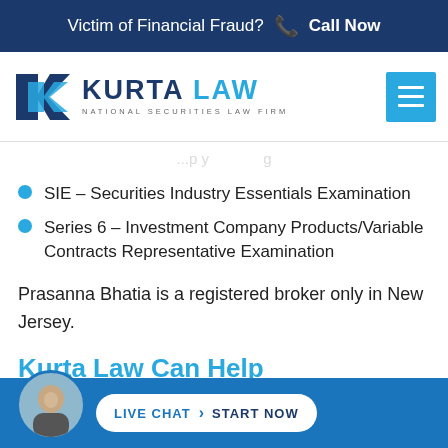Victim of Financial Fraud? Call Now
[Figure (logo): Kurta Law logo with double arrow K symbol and text KURTA LAW NATIONAL SECURITIES LAW FIRM, plus hamburger menu button]
[partial cut-off text above]
SIE – Securities Industry Essentials Examination
Series 6 – Investment Company Products/Variable Contracts Representative Examination
Prasanna Bhatia is a registered broker only in New Jersey.
Kurta Law Can Help
LIVE CHAT  START NOW